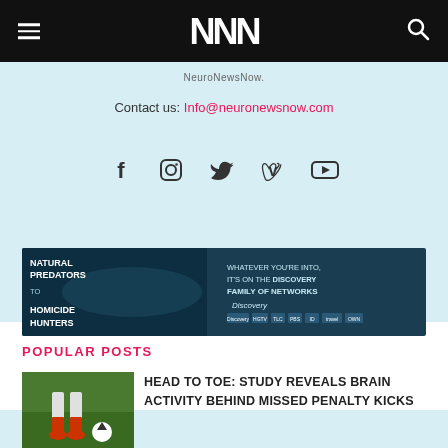NNN — NeuroNewsNow
NeuroNewsNow.
Contact us: info@neuronewsnow.com
[Figure (infographic): Social media icons row: Facebook, Instagram, Twitter, Vimeo, YouTube]
[Figure (infographic): Advertisement banner: Natural Predators to Homicide Hunters — Discovery Family of Networks]
POPULAR POSTS
HEAD TO TOE: STUDY REVEALS BRAIN ACTIVITY BEHIND MISSED PENALTY KICKS